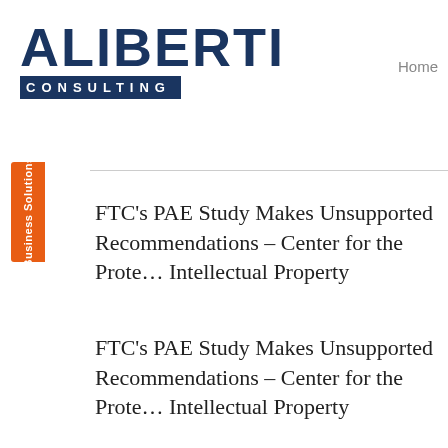ALIBERTI CONSULTING
Home
Business Solutions
FTC's PAE Study Makes Unsupported Recommendations – Center for the Protection of Intellectual Property
FTC's PAE Study Makes Unsupported Recommendations – Center for the Protection of Intellectual Property